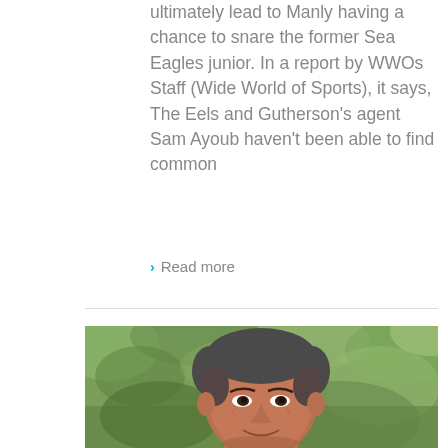ultimately lead to Manly having a chance to snare the former Sea Eagles junior. In a report by WWOs Staff (Wide World of Sports), it says, The Eels and Gutherson's agent Sam Ayoub haven't been able to find common
Read more
[Figure (photo): Close-up photo of a middle-aged man with short grey hair, smiling, with a blurred green outdoor background.]